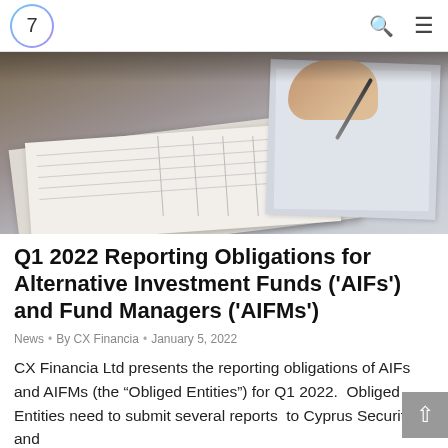7
[Figure (photo): Close-up photo of a hand holding a pen over accounting/financial documents with columns and rows, paper sheets spread out on a desk.]
Q1 2022 Reporting Obligations for Alternative Investment Funds (‘AIFs’) and Fund Managers (‘AIFMs’)
News • By CX Financia • January 5, 2022
CX Financia Ltd presents the reporting obligations of AIFs and AIFMs (the “Obliged Entities”) for Q1 2022.  Obliged Entities need to submit several reports  to Cyprus Securities and